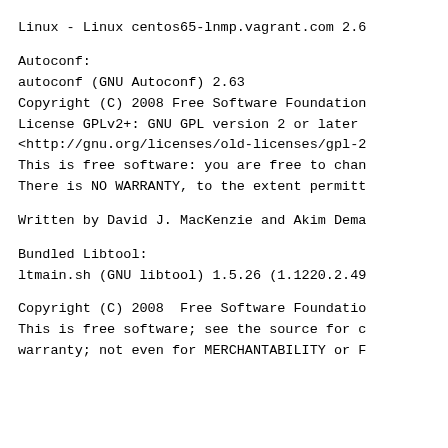Linux - Linux centos65-lnmp.vagrant.com 2.6
Autoconf:
autoconf (GNU Autoconf) 2.63
Copyright (C) 2008 Free Software Foundation
License GPLv2+: GNU GPL version 2 or later
<http://gnu.org/licenses/old-licenses/gpl-2
This is free software: you are free to chan
There is NO WARRANTY, to the extent permitt
Written by David J. MacKenzie and Akim Dema
Bundled Libtool:
ltmain.sh (GNU libtool) 1.5.26 (1.1220.2.49
Copyright (C) 2008  Free Software Foundatio
This is free software; see the source for c
warranty; not even for MERCHANTABILITY or F